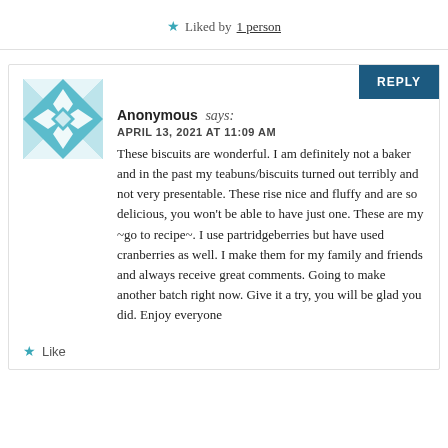Liked by 1 person
Anonymous says:
APRIL 13, 2021 AT 11:09 AM
These biscuits are wonderful. I am definitely not a baker and in the past my teabuns/biscuits turned out terribly and not very presentable. These rise nice and fluffy and are so delicious, you won't be able to have just one. These are my ~go to recipe~. I use partridgeberries but have used cranberries as well. I make them for my family and friends and always receive great comments. Going to make another batch right now. Give it a try, you will be glad you did. Enjoy everyone
Like